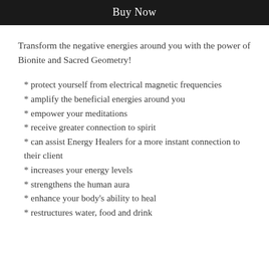Buy Now
Transform the negative energies around you with the power of Bionite and Sacred Geometry!
* protect yourself from electrical magnetic frequencies
* amplify the beneficial energies around you
* empower your meditations
* receive greater connection to spirit
* can assist Energy Healers for a more instant connection to their client
* increases your energy levels
* strengthens the human aura
* enhance your body's ability to heal
* restructures water, food and drink